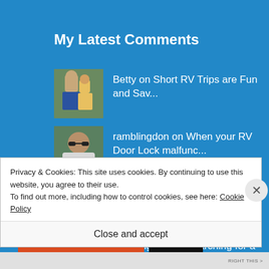My Latest Comments
Betty on Short RV Trips are Fun and Sav...
ramblingdon on When your RV Door Lock malfunc...
sean sheridan on When your RV Door Lock malfunc...
ramblingdon on Searching for a
Privacy & Cookies: This site uses cookies. By continuing to use this website, you agree to their use.
To find out more, including how to control cookies, see here: Cookie Policy
Close and accept